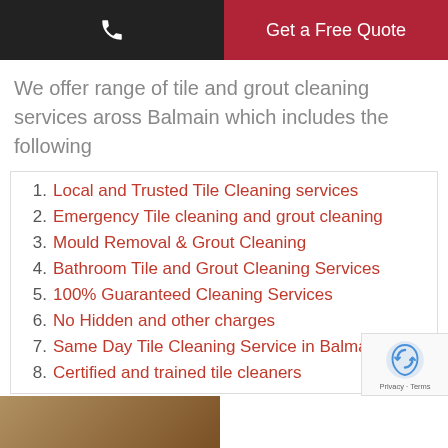Get a Free Quote
We offer range of tile and grout cleaning services aross Balmain which includes the following
1. Local and Trusted Tile Cleaning services
2. Emergency Tile cleaning and grout cleaning
3. Mould Removal & Grout Cleaning
4. Bathroom Tile and Grout Cleaning Services
5. 100% Guaranteed Cleaning Services
6. No Hidden and other charges
7. Same Day Tile Cleaning Service in Balmain
8. Certified and trained tile cleaners